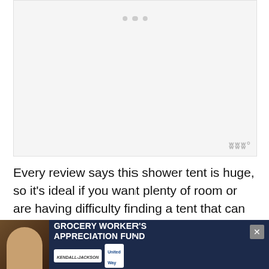[Figure (photo): Large image placeholder area with light gray background and three gray navigation dots at the top center. A small logo mark appears in the lower right corner.]
Every review says this shower tent is huge, so it's ideal if you want plenty of room or are having difficulty finding a tent that can accommodate you.
The King Camp shower tent has two separate sides
[Figure (other): Advertisement banner: Grocery Worker's Appreciation Fund featuring a person, Kendall-Jackson and United Way logos, with a close button.]